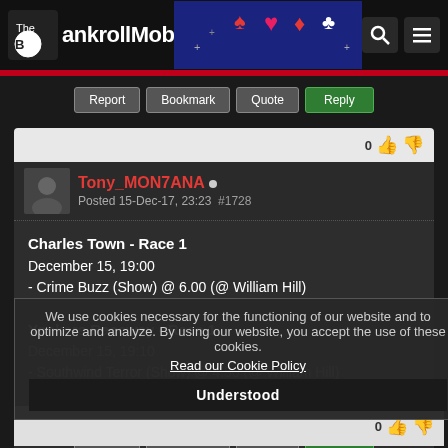The BankrollMob
Report | Bookmark | Quote | Reply
Tony_MON7ANA
Posted 15-Dec-17, 23:23  #1728
Charles Town - Race 1
December 15, 19:00
- Crime Buzz (Show) @ 6.00 (@ William Hill)

Yonkers Raceway - Race 1
December 15, 19:10
- Southwind Terror (Show) @ 4.50 (@ William Hill)

Note: All times are Eastern Standard Time (UTC-5)
We use cookies necessary for the functioning of our website and to optimize and analyze. By using our website, you accept the use of these cookies.
Read our Cookie Policy
Understood
Report | Bookmark | Quote | Reply